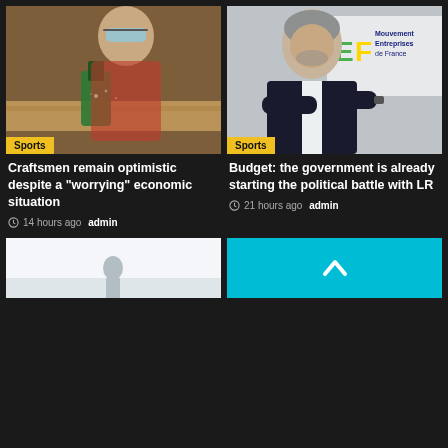[Figure (photo): Woman with safety goggles using a jigsaw on wood, craftsman/woodworking photo]
Sports
Craftsmen remain optimistic despite a "worrying" economic situation
14 hours ago  admin
[Figure (photo): Middle-aged man in dark suit with arms crossed in front of Mouvement Entreprises de France banner]
Sports
Budget: the government is already starting the political battle with LR
21 hours ago  admin
[Figure (photo): Partial view of a person, light background, bottom of page]
[Figure (other): Back to top button — cyan/teal square with upward chevron arrow]